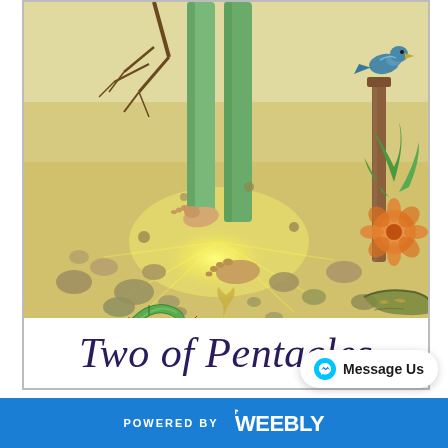[Figure (illustration): Tarot card illustration showing the lower half of a figure standing barefoot in glowing sandy ground, surrounded by rocks, a green snake on the left, flowers and plants on the right, a bird perched on a pole in the upper right, and a bare branch in the upper left. The scene has a yellowish stippled art style.]
Two of Pentacles
0 COMMENTS   0 SHARE
Message Us
POWERED BY weebly